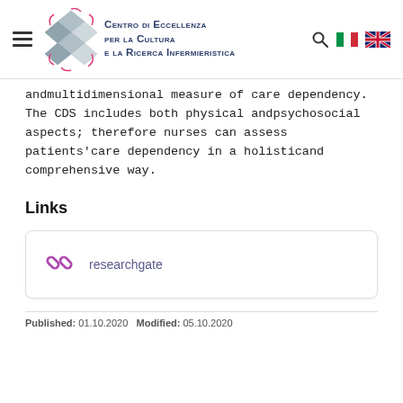Centro di Eccellenza per la Cultura e la Ricerca Infermieristica
andmultidimensional measure of care dependency. The CDS includes both physical andpsychosocial aspects; therefore nurses can assess patients'care dependency in a holisticand comprehensive way.
Links
researchgate
Published: 01.10.2020   Modified: 05.10.2020